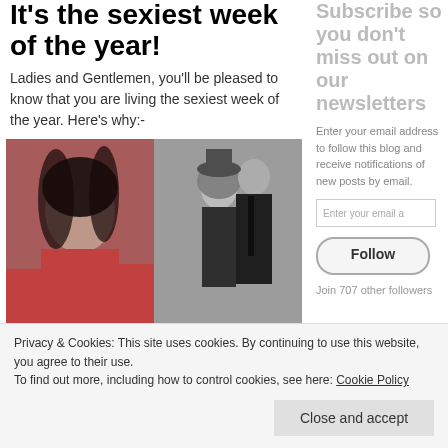It's the sexiest week of the year!
Ladies and Gentlemen, you'll be pleased to know that you are living the sexiest week of the year. Here's why:-
[Figure (photo): Two photos side by side: left is a selfie of a young woman with dark hair wearing a red sleeveless top; right is a black-and-white fashion photo of a couple, woman in black dress and man in dark suit with tie.]
Subscribe so you don't miss out on our newsletters
Enter your email address to follow this blog and receive notifications of new posts by email.
Enter your email a
Follow
Join 707 other followers
Privacy & Cookies: This site uses cookies. By continuing to use this website, you agree to their use.
To find out more, including how to control cookies, see here: Cookie Policy
Close and accept